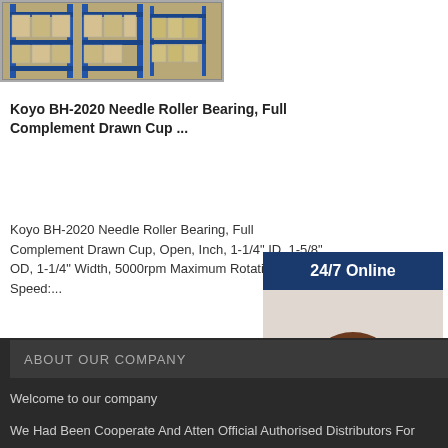[Figure (photo): Warehouse shelves stacked with boxed bearing products on blue metal racking]
Koyo BH-2020 Needle Roller Bearing, Full Complement Drawn Cup ...
Koyo BH-2020 Needle Roller Bearing, Full Complement Drawn Cup, Open, Inch, 1-1/4" ID, 1-5/8" OD, 1-1/4" Width, 5000rpm Maximum Rotational Speed:...
GET PRICE BY E-MAIL
[Figure (photo): 24/7 Online - customer service agent woman with headset smiling, with Have any requests, click here. and Quotation button]
ABOUT OUR COMPANY
Welcome to our company
We Had Been Cooperate And Atten Official Authorised Distributors For